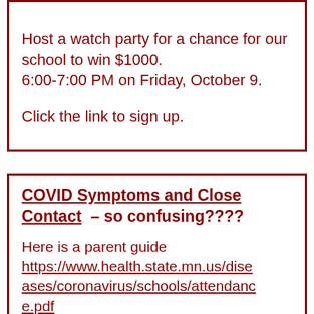Host a watch party for a chance for our school to win $1000.
6:00-7:00 PM on Friday, October 9.

Click the link to sign up.
COVID Symptoms and Close Contact – so confusing????
Here is a parent guide https://www.health.state.mn.us/diseases/coronavirus/schools/attendance.pdf

Students coming to school with